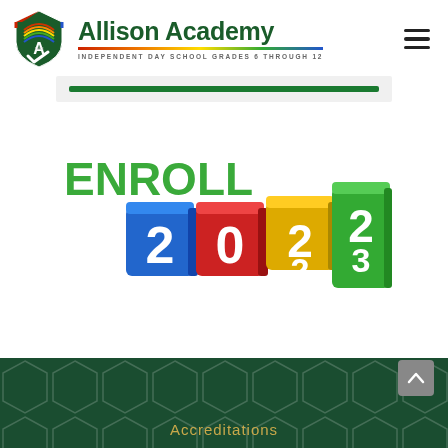[Figure (logo): Allison Academy shield logo with letter A and checkmark, year 1983]
Allison Academy
INDEPENDENT DAY SCHOOL GRADES 6 THROUGH 12
[Figure (illustration): Enroll 2022-2023 graphic with colorful 3D dice/blocks showing the numbers 2, 0, 2, 2 transitioning to 2, 0, 2, 3 with ENROLL text in green]
Accreditations